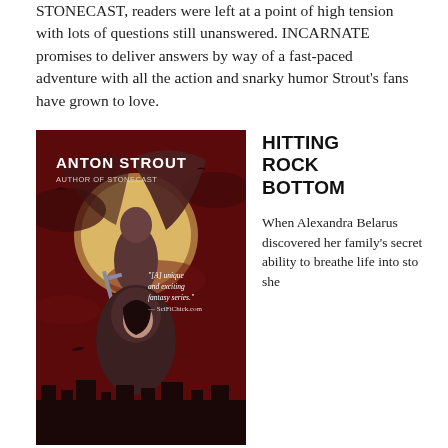STONECAST, readers were left at a point of high tension with lots of questions still unanswered. INCARNATE promises to deliver answers by way of a fast-paced adventure with all the action and snarky humor Strout's fans have grown to love.
[Figure (illustration): Book cover for 'Incarnate' by Anton Strout, Author of Stonecast. Dark fantasy cover featuring a winged stone gargoyle-like figure holding a sword against a full moon, and a hooded woman in front. Red/dark sky with flying creatures. Quote: '[A] unique and exciting fantasy series.' —SciFiChick.com]
HITTING ROCK BOTTOM
When Alexandra Belarus discovered her family's secret ability to breathe life into sto she